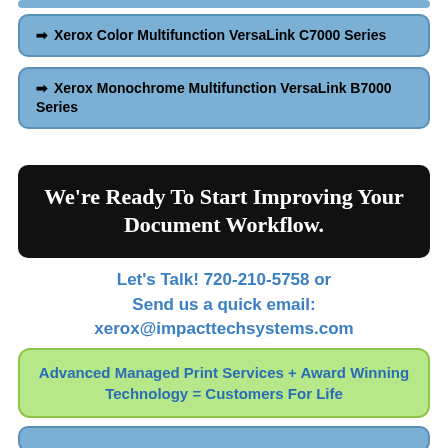Xerox Color Multifunction VersaLink C7000 Series
Xerox Monochrome Multifunction VersaLink B7000 Series
We're Ready To Start Improving Your Document Workflow.
Let's Talk! 720-210-5758 or
Send us a quick email:
xerox@impacttechsystems.com
Advanced Managed Print Services + Award Winning Technology = Customers For Life